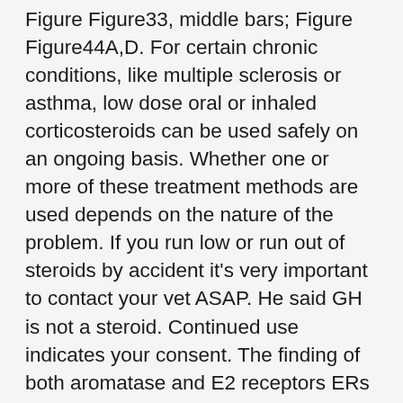Figure Figure33, middle bars; Figure Figure44A,D. For certain chronic conditions, like multiple sclerosis or asthma, low dose oral or inhaled corticosteroids can be used safely on an ongoing basis. Whether one or more of these treatment methods are used depends on the nature of the problem. If you run low or run out of steroids by accident it's very important to contact your vet ASAP. He said GH is not a steroid. Continued use indicates your consent. The finding of both aromatase and E2 receptors ERs in the developing fetal testis implies a possible involvement of estrogens in the process of differentiation and maturation of developing rodent testis from an early stage of morphogenesis, probably ERβ having a major role than ERα Luconi et al. Steroids get a bad rap — but do they deserve it. PubMed Abstract CrossRef Full Text Google Scholar. She had a past history of mild hypertension and hyperlipidemia with Prescribed diet control at that